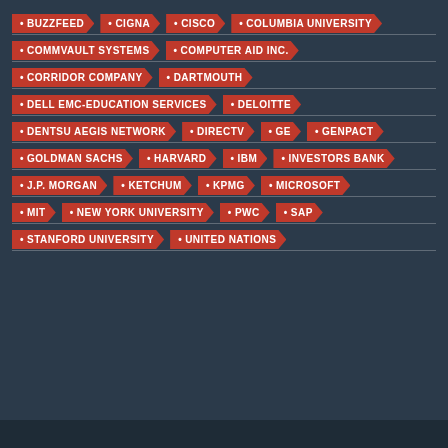BUZZFEED
CIGNA
CISCO
COLUMBIA UNIVERSITY
COMMVAULT SYSTEMS
COMPUTER AID INC.
CORRIDOR COMPANY
DARTMOUTH
DELL EMC-EDUCATION SERVICES
DELOITTE
DENTSU AEGIS NETWORK
DIRECTV
GE
GENPACT
GOLDMAN SACHS
HARVARD
IBM
INVESTORS BANK
J.P. MORGAN
KETCHUM
KPMG
MICROSOFT
MIT
NEW YORK UNIVERSITY
PWC
SAP
STANFORD UNIVERSITY
UNITED NATIONS